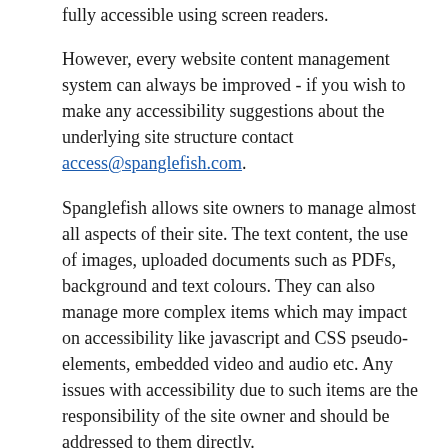fully accessible using screen readers.
However, every website content management system can always be improved - if you wish to make any accessibility suggestions about the underlying site structure contact access@spanglefish.com.
Spanglefish allows site owners to manage almost all aspects of their site. The text content, the use of images, uploaded documents such as PDFs, background and text colours. They can also manage more complex items which may impact on accessibility like javascript and CSS pseudo-elements, embedded video and audio etc. Any issues with accessibility due to such items are the responsibility of the site owner and should be addressed to them directly.
Accessibility Statement - Travelling Yarns
The Travelling Yarns website should not have any